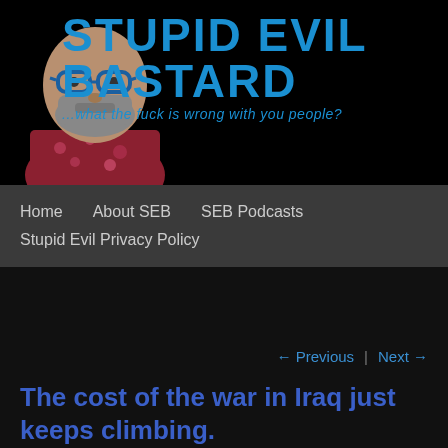[Figure (photo): Man with glasses and gray beard, wearing a floral shirt, against black background — website header photo]
STUPID EVIL BASTARD
...what the fuck is wrong with you people?
Home | About SEB | SEB Podcasts | Stupid Evil Privacy Policy
← Previous | Next →
The cost of the war in Iraq just keeps climbing.
Posted on 24 January, 2008 by Les
First, a brief bit of history. Cure spooky flashback